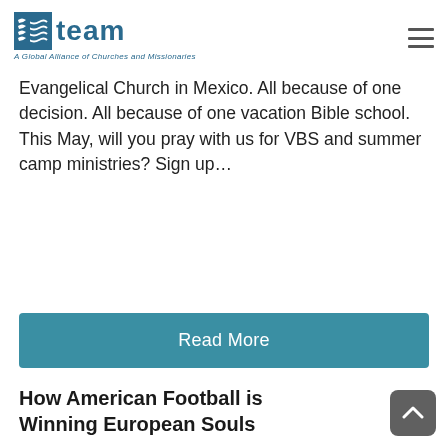team — A Global Alliance of Churches and Missionaries
Evangelical Church in Mexico. All because of one decision. All because of one vacation Bible school. This May, will you pray with us for VBS and summer camp ministries? Sign up…
Read More
How American Football is Winning European Souls